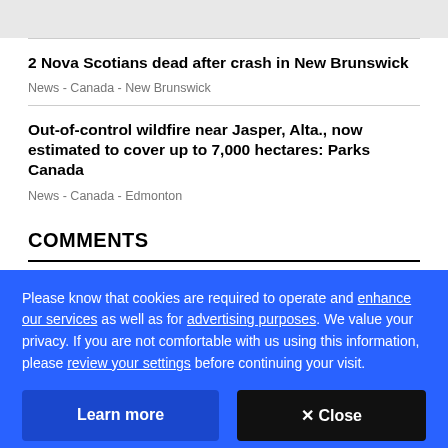2 Nova Scotians dead after crash in New Brunswick
News  -  Canada  -  New Brunswick
Out-of-control wildfire near Jasper, Alta., now estimated to cover up to 7,000 hectares: Parks Canada
News  -  Canada  -  Edmonton
COMMENTS
Please know that cookies are required to operate and enhance our services as well as for advertising purposes. We value your privacy. If you are not comfortable with us using this information, please review your settings before continuing your visit.